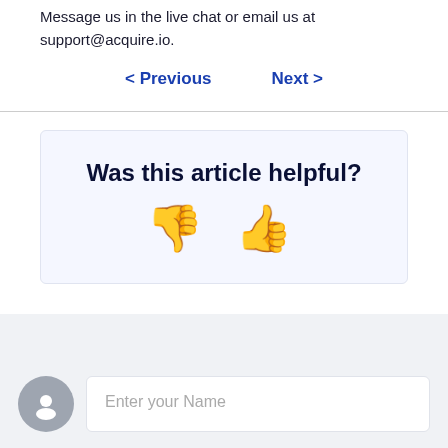Message us in the live chat or email us at support@acquire.io.
< Previous   Next >
Was this article helpful?
[Figure (illustration): Thumbs down and thumbs up emoji icons for article feedback]
Enter your Name